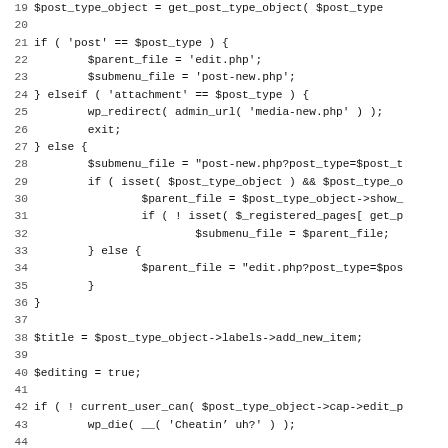[Figure (screenshot): Source code listing in monospace font showing PHP code snippet, lines 19-51, with line numbers on the left and code on the right. The code handles post type checks, redirects, title and editing variable assignment, user capability checks, auto-draft cleanup scheduling, and script enqueueing.]